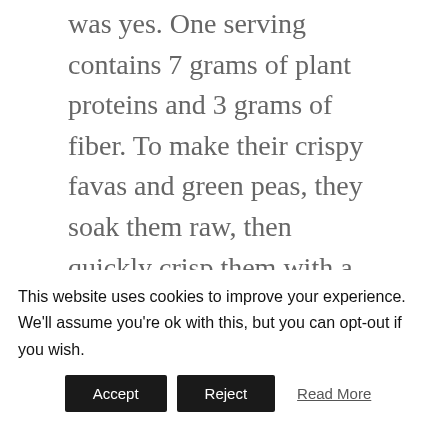was yes. One serving contains 7 grams of plant proteins and 3 grams of fiber. To make their crispy favas and green peas, they soak them raw, then quickly crisp them with a spritz of coconut oil to retain the crunch. They are vegan-friendly, gluten-free, non-GMO, high protein, high fiber, and low fat. I'm slightly obsessed with the balsamic herb flavor. I've been adding them on top of my salads for a crunch.
This website uses cookies to improve your experience. We'll assume you're ok with this, but you can opt-out if you wish.